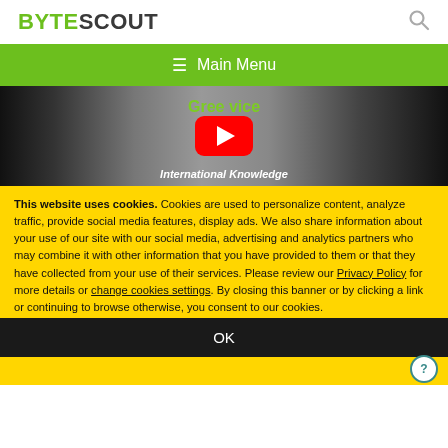BYTESCOUT
[Figure (screenshot): Green navigation bar with hamburger menu icon and 'Main Menu' text on white website header]
[Figure (screenshot): YouTube video thumbnail showing people in suits with overlay text 'Gree...vice' and 'International Knowledge', red YouTube play button in center]
This website uses cookies. Cookies are used to personalize content, analyze traffic, provide social media features, display ads. We also share information about your use of our site with our social media, advertising and analytics partners who may combine it with other information that you have provided to them or that they have collected from your use of their services. Please review our Privacy Policy for more details or change cookies settings. By closing this banner or by clicking a link or continuing to browse otherwise, you consent to our cookies.
OK